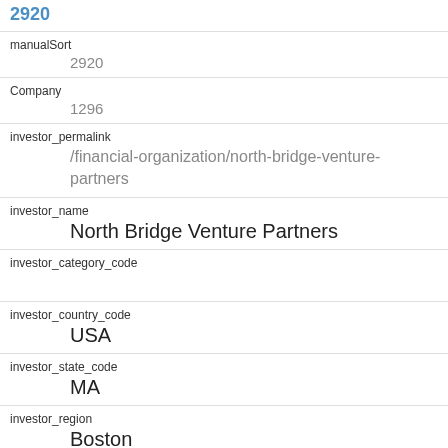2920
manualSort
2920
Company
1296
investor_permalink
/financial-organization/north-bridge-venture-partners
investor_name
North Bridge Venture Partners
investor_category_code
investor_country_code
USA
investor_state_code
MA
investor_region
Boston
investor_city
Waltham
funding_round_type